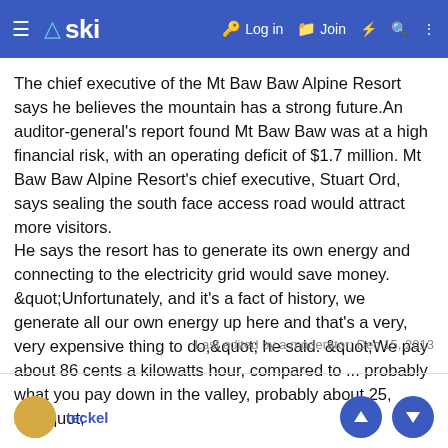≡ ski | Log in | Join | ⚡ | 🔍 | ⋮
The chief executive of the Mt Baw Baw Alpine Resort says he believes the mountain has a strong future.An auditor-general's report found Mt Baw Baw was at a high financial risk, with an operating deficit of $1.7 million. Mt Baw Baw Alpine Resort's chief executive, Stuart Ord, says sealing the south face access road would attract more visitors.
He says the resort has to generate its own energy and connecting to the electricity grid would save money.
&quot;Unfortunately, and it's a fact of history, we generate all our own energy up here and that's a very, very expensive thing to do,&quot; he said. &quot;We pay about 86 cents a kilowatts hour, compared to ... probably what you pay down in the valley, probably about 25, 26.&quot;
Last edited by a moderator: Dec 15, 2013
teckel